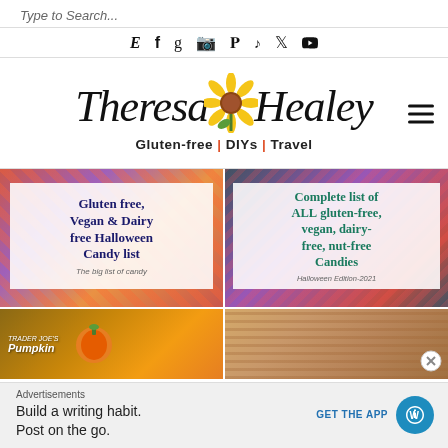Type to Search...
[Figure (infographic): Row of social media icons: Etsy (E), Facebook (f), Goodreads (g), Instagram, Pinterest, TikTok, Twitter, YouTube]
[Figure (logo): Theresa Healey blog logo with sunflower illustration and tagline: Gluten-free | DIYs | Travel]
[Figure (photo): Gluten free, Vegan & Dairy free Halloween Candy list - card with candy background and white overlay. Subtitle: The big list of candy]
[Figure (photo): Complete list of ALL gluten-free, vegan, dairy-free, nut-free Candies. Halloween Edition-2021. Candy background with white overlay.]
[Figure (photo): Trader Joe's Pumpkin product - partial image]
[Figure (photo): Baked good / food item - partial image]
Advertisements
Build a writing habit. Post on the go.
GET THE APP